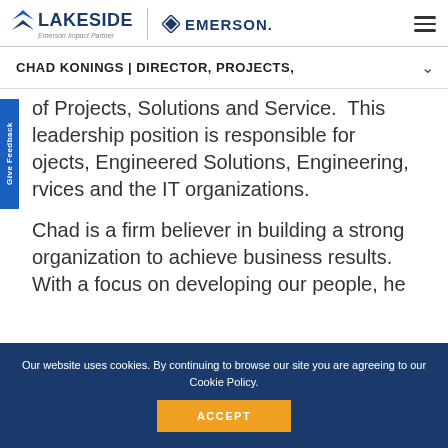LAKESIDE | Emerson Impact Partner | EMERSON
CHAD KONINGS | DIRECTOR, PROJECTS,
of Projects, Solutions and Service.  This leadership position is responsible for ojects, Engineered Solutions, Engineering, rvices and the IT organizations.
Chad is a firm believer in building a strong organization to achieve business results. With a focus on developing our people, he
Our website uses cookies. By continuing to browse our site you are agreeing to our Cookie Policy.
ACCEPT